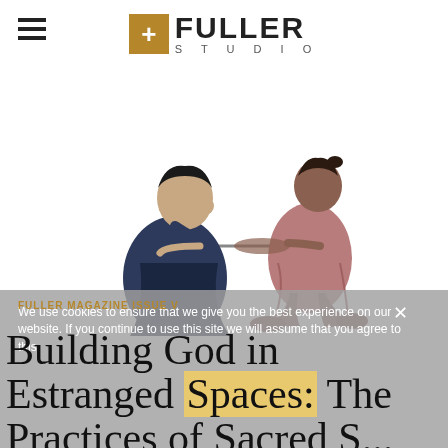+ FULLER STUDIO
[Figure (illustration): Two illustrated figures at a table: one person seated leaning on hand in contemplation (dark blue/navy clothing), another person kneeling across the table reaching out (mauve/rose clothing). Minimalist illustration style.]
We use cookies to ensure that we give you the best experience on our website. If you continue to use this site we will assume that you agree to this
FULLER MAGAZINE ISSUE V
Building God in Estranged Spaces: The Practices of Sacred S...